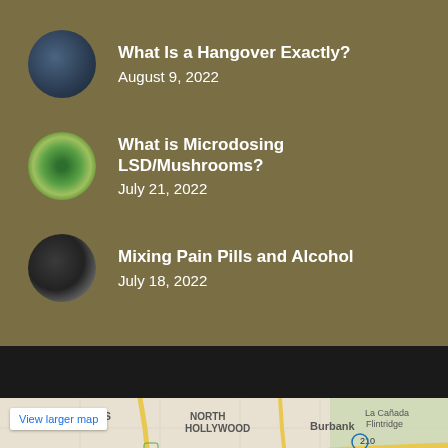What Is a Hangover Exactly? August 9, 2022
What is Microdosing LSD/Mushrooms? July 21, 2022
Mixing Pain Pills and Alcohol July 18, 2022
[Figure (map): Google Maps view showing Van Nuys, North Hollywood, Burbank, Encino, Sherman Oaks, Universal City, Glendale, La Cañada Flintridge area of Los Angeles with View larger map button]